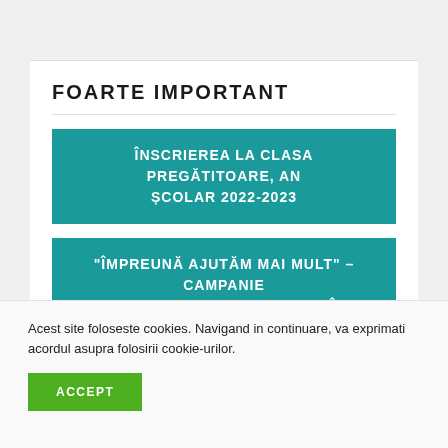FOARTE IMPORTANT
ÎNSCRIEREA LA CLASA PREGĂTITOARE, AN ȘCOLAR 2022-2023
"ÎMPREUNĂ AJUTĂM MAI MULT" – CAMPANIE DE COLECTARE DE FONDURI ÎN VEDEREA AJUTORĂRII PERSOANELOR PROVENITE DIN
Acest site foloseste cookies. Navigand in continuare, va exprimati acordul asupra folosirii cookie-urilor.
ACCEPT